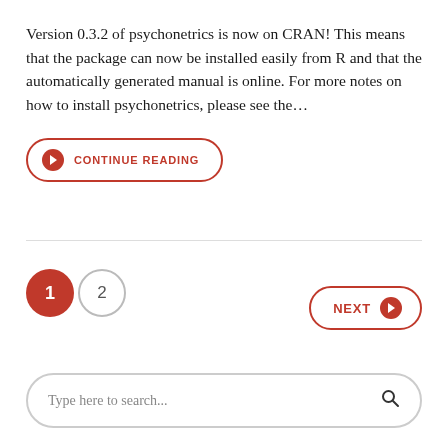Version 0.3.2 of psychonetrics is now on CRAN! This means that the package can now be installed easily from R and that the automatically generated manual is online. For more notes on how to install psychonetrics, please see the...
CONTINUE READING
1  2  NEXT
Type here to search...
ARCHIVES